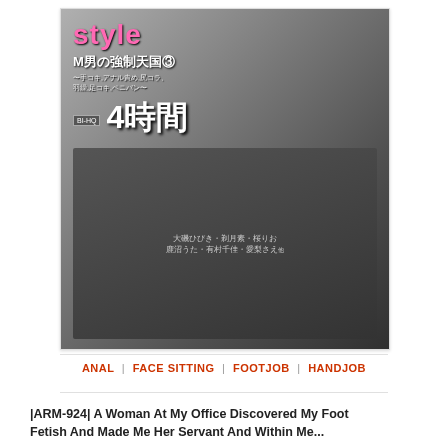[Figure (photo): DVD cover image for a Japanese adult video titled 'style M男の強制天国③' featuring Japanese text, compilation imagery, and '4時間' (4 hours) label]
ANAL | FACE SITTING | FOOTJOB | HANDJOB
|ARM-924| A Woman At My Office Discovered My Foot Fetish And Made Me Her Servant And Within Me...